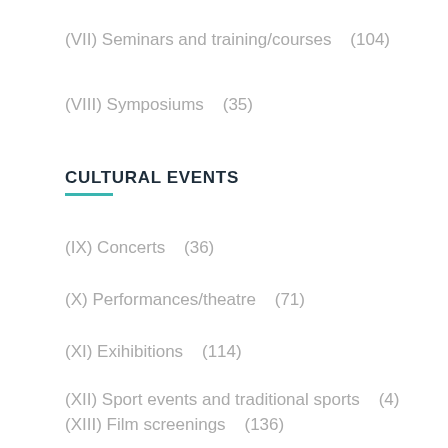(VII) Seminars and training/courses    (104)
(VIII) Symposiums    (35)
CULTURAL EVENTS
(IX) Concerts    (36)
(X) Performances/theatre    (71)
(XI) Exihibitions    (114)
(XII) Sport events and traditional sports    (4)
(XIII) Film screenings    (136)